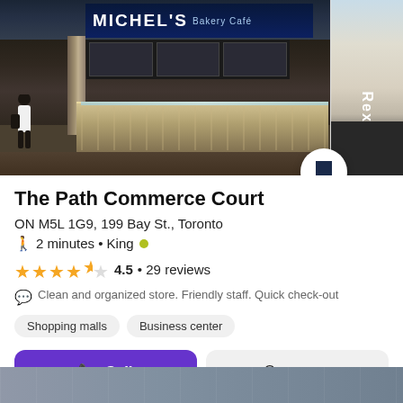[Figure (photo): Interior photo of Michel's Bakery Café store front in a mall concourse, showing display cases, signage, and a person walking by. A partial view of a Rexall store is visible on the right.]
The Path Commerce Court
ON M5L 1G9, 199 Bay St., Toronto
2 minutes • King
4.5 • 29 reviews
Clean and organized store. Friendly staff. Quick check-out
Shopping malls
Business center
Call
On a map